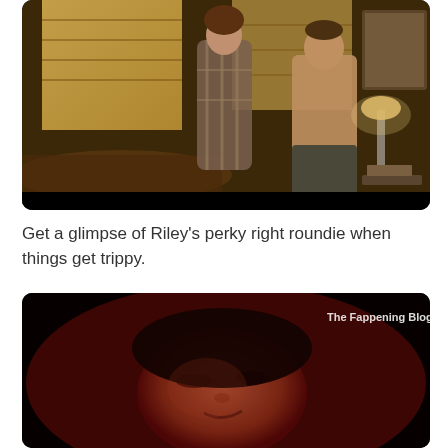[Figure (photo): A bedroom scene showing two people standing, one wearing a plaid shirt, the other shirtless, with warm yellowish light coming through window blinds and a lamp on a nightstand.]
Get a glimpse of Riley’s perky right roundie when things get trippy.
[Figure (photo): A dark, red-tinted close-up of a person's face lying down, lit with reddish light, with a watermark reading 'The Fappening Blog' in the upper right corner.]